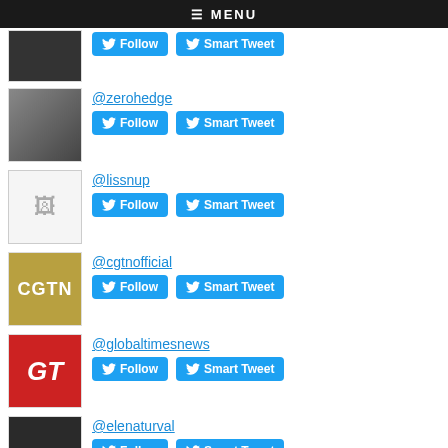≡ MENU
@zerohedge — Follow | Smart Tweet
@lissnup — Follow | Smart Tweet
@cgtnofficial — Follow | Smart Tweet
@globaltimesnews — Follow | Smart Tweet
@elenaturval — Follow | Smart Tweet
@lafemme_bambina — Follow | Smart Tweet
@rmconservative — Follow | Smart Tweet